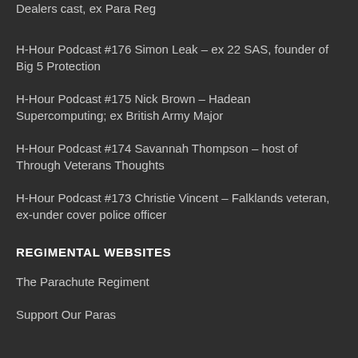H-Hour Podcast #177 Freddie Kruyer – Combat Dealers cast, ex Para Reg
H-Hour Podcast #176 Simon Leak – ex 22 SAS, founder of Big 5 Protection
H-Hour Podcast #175 Nick Brown – Hadean Supercomputing; ex British Army Major
H-Hour Podcast #174 Savannah Thompson – host of Through Veterans Thoughts
H-Hour Podcast #173 Christie Vincent – Falklands veteran, ex-under cover police officer
REGIMENTAL WEBSITES
The Parachute Regiment
Support Our Paras